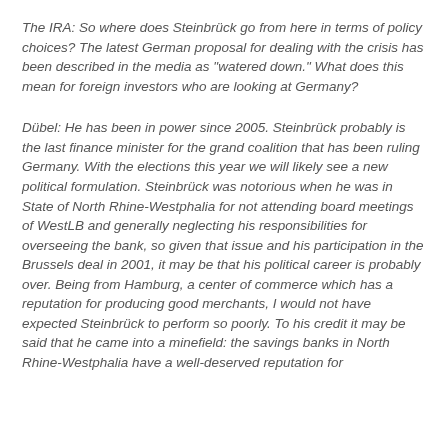The IRA: So where does Steinbrück go from here in terms of policy choices? The latest German proposal for dealing with the crisis has been described in the media as "watered down." What does this mean for foreign investors who are looking at Germany?
Dübel: He has been in power since 2005. Steinbrück probably is the last finance minister for the grand coalition that has been ruling Germany. With the elections this year we will likely see a new political formulation. Steinbrück was notorious when he was in State of North Rhine-Westphalia for not attending board meetings of WestLB and generally neglecting his responsibilities for overseeing the bank, so given that issue and his participation in the Brussels deal in 2001, it may be that his political career is probably over. Being from Hamburg, a center of commerce which has a reputation for producing good merchants, I would not have expected Steinbrück to perform so poorly. To his credit it may be said that he came into a minefield: the savings banks in North Rhine-Westphalia have a well-deserved reputation for